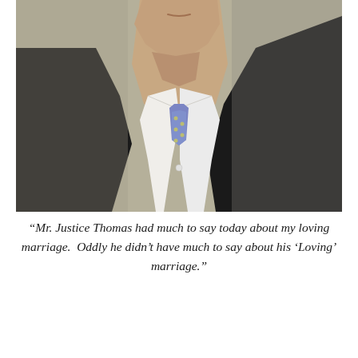[Figure (photo): Close-up photo of a man in a dark suit with a blue/purple patterned tie and white dress shirt, face cropped showing only lower face/neck/chest area, looking upward slightly to the right]
“Mr. Justice Thomas had much to say today about my loving marriage.  Oddly he didn’t have much to say about his ‘Loving’ marriage.”